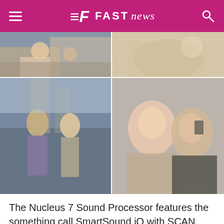FAST news
[Figure (photo): Four-panel photo grid: top-left shows people outdoors near water, top-right shows person on couch, bottom-left shows couple with cameras sightseeing near gothic cathedral, bottom-right shows two young women taking a selfie]
The Nucleus 7 Sound Processor features the something call SmartSound iQ with SCAN, and dual microphone technology, which helps people